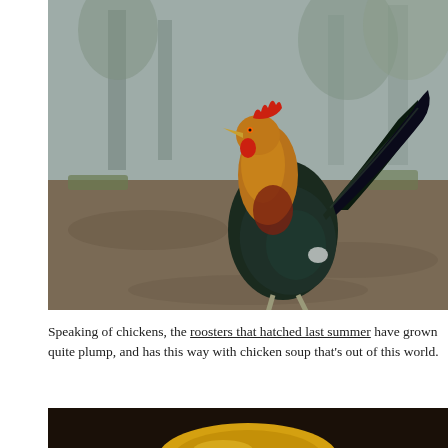[Figure (photo): A rooster with red comb, golden-brown and dark iridescent plumage walking on muddy ground with trees and misty forest in background]
Speaking of chickens, the roosters that hatched last summer have grown quite plump, and has this way with chicken soup that's out of this world.
[Figure (photo): Partial view of what appears to be a bowl of chicken soup with yellow/gold coloring, dark background]